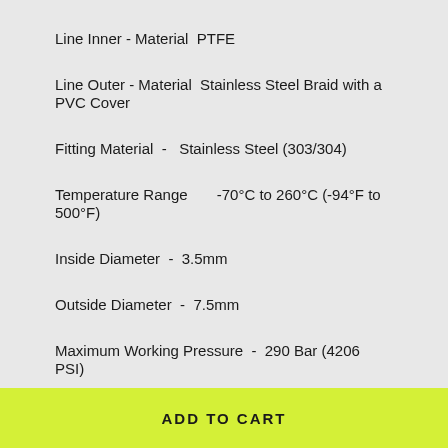Line Inner - Material  PTFE
Line Outer - Material  Stainless Steel Braid with a PVC Cover
Fitting Material  -  Stainless Steel (303/304)
Temperature Range      -70°C to 260°C (-94°F to 500°F)
Inside Diameter  -  3.5mm
Outside Diameter  -  7.5mm
Maximum Working Pressure  -  290 Bar (4206 PSI)
Bursting Pressure  -  870 Bar (12618 PSI)
ADD TO CART